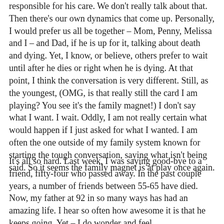responsible for his care. We don't really talk about that. Then there's our own dynamics that come up. Personally, I would prefer us all be together – Mom, Penny, Melissa and I – and Dad, if he is up for it, talking about death and dying. Yet, I know, or believe, others prefer to wait until after he dies or right when he is dying. At that point, I think the conversation is very different. Still, as the youngest, (OMG, is that really still the card I am playing? You see it's the family magnet!) I don't say what I want. I wait. Oddly, I am not really certain what would happen if I just asked for what I wanted. I am often the one outside of my family system known for starting the tough conversation, saying what isn't being said. So it seems the family magnet is at play once again.
It's all so hard. Last week, I was saying good-bye to a friend, fifty-four who passed away. In the past couple years, a number of friends between 55-65 have died. Now, my father at 92 in so many ways has had an amazing life. I hear so often how awesome it is that he keeps going. Yet – I do wonder and feel